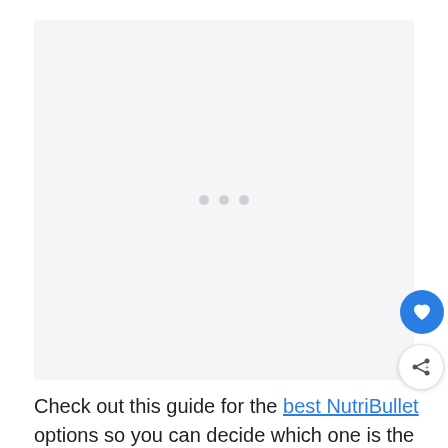[Figure (other): Loading placeholder with three grey dots centered on a light grey background rectangle]
Check out this guide for the best NutriBullet options so you can decide which one is the best for you to buy.